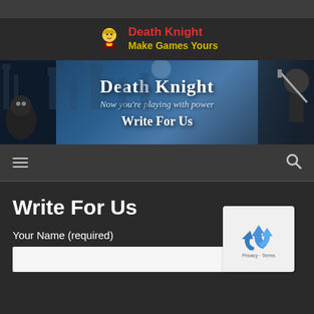[Figure (logo): Death Knight logo with cartoon character, red title text 'Death Knight' and yellow subtitle 'Make Games Yours']
[Figure (screenshot): Death Knight banner image with castle background, warrior figures, text 'Death Knight', 'Now you're playing with power', 'Write For Us']
[Figure (other): Navigation bar with hamburger menu icon on left and search icon on right]
Write For Us
Your Name (required)
[Figure (other): reCAPTCHA widget with recycling arrows logo and Privacy · Terms text]